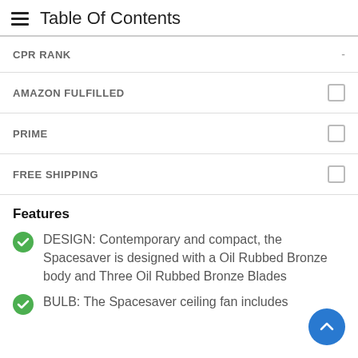Table Of Contents
CPR RANK
AMAZON FULFILLED
PRIME
FREE SHIPPING
Features
DESIGN: Contemporary and compact, the Spacesaver is designed with a Oil Rubbed Bronze body and Three Oil Rubbed Bronze Blades
BULB: The Spacesaver ceiling fan includes